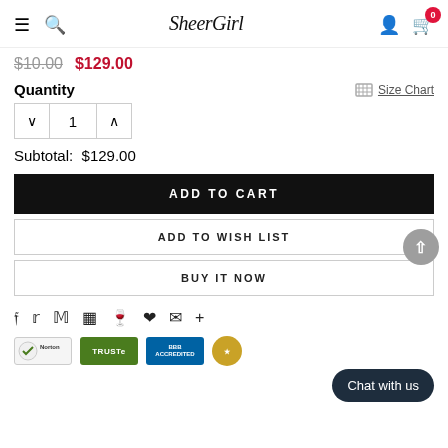SheerGirl navigation header with menu, search, logo, user and cart icons
$10.00  $129.00
Quantity
Size Chart
1
Subtotal:  $129.00
ADD TO CART
ADD TO WISH LIST
BUY IT NOW
Social share icons: Facebook, Twitter, Pinterest, Grid, Fancy, Heart, Email, Plus
Chat with us
[Figure (logo): Trust badge logos: Norton, TRUSTe, BBB Accredited, gold seal]